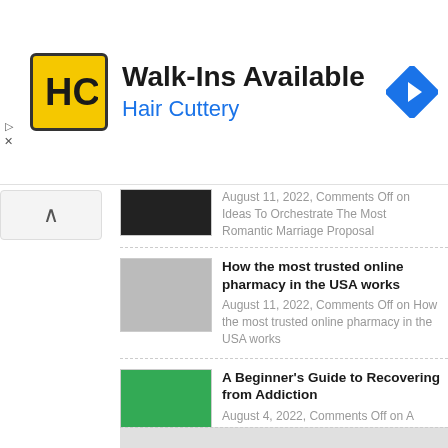[Figure (other): Hair Cuttery advertisement banner with logo, 'Walk-Ins Available' headline, and navigation icon]
August 11, 2022, Comments Off on Ideas To Orchestrate The Most Romantic Marriage Proposal
How the most trusted online pharmacy in the USA works — August 11, 2022, Comments Off on How the most trusted online pharmacy in the USA works
A Beginner's Guide to Recovering from Addiction — August 4, 2022, Comments Off on A Beginner's Guide to Recovering from Addiction
Four Steps to Improving Your Skills as a Banjo Player — August 3, 2022, Comments Off on Four Steps to Improving Your Skills as a Banjo Player